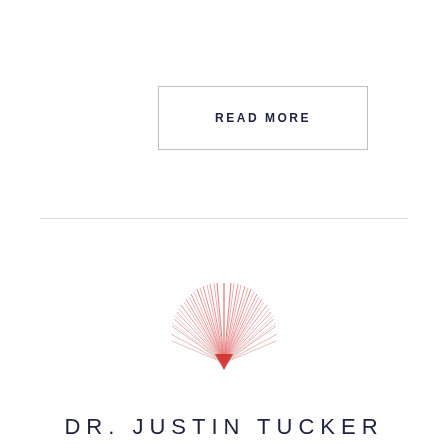READ MORE
[Figure (logo): Sunburst/starburst logo mark with radiating lines in pink/red gradient converging to a downward point]
DR. JUSTIN TUCKER